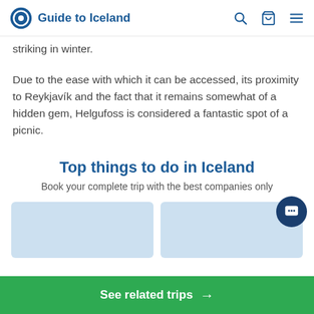Guide to Iceland
striking in winter.
Due to the ease with which it can be accessed, its proximity to Reykjavík and the fact that it remains somewhat of a hidden gem, Helgufoss is considered a fantastic spot of a picnic.
Top things to do in Iceland
Book your complete trip with the best companies only
[Figure (other): Two light-blue placeholder card images for tours/activities]
See related trips →